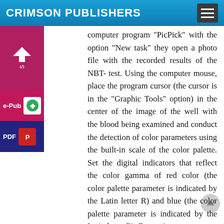CRIMSON PUBLISHERS
computer program "PicPick" with the option "New task" they open a photo file with the recorded results of the NBT- test. Using the computer mouse, place the program cursor (the cursor is in the "Graphic Tools" option) in the center of the image of the well with the blood being examined and conduct the detection of color parameters using the built-in scale of the color palette. Set the digital indicators that reflect the color gamma of red color (the color palette parameter is indicated by the Latin letter R) and blue (the color palette parameter is indicated by the Latin letter B). Determine